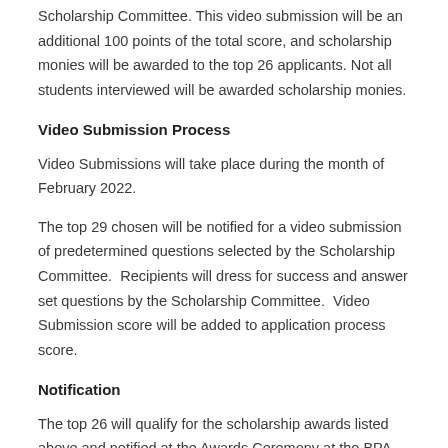Scholarship Committee. This video submission will be an additional 100 points of the total score, and scholarship monies will be awarded to the top 26 applicants. Not all students interviewed will be awarded scholarship monies.
Video Submission Process
Video Submissions will take place during the month of February 2022.
The top 29 chosen will be notified for a video submission of predetermined questions selected by the Scholarship Committee. Recipients will dress for success and answer set questions by the Scholarship Committee. Video Submission score will be added to application process score.
Notification
The top 26 will qualify for the scholarship awards listed above and notified at the Awards Ceremony at the BPA State Leadership Conference. A certificate will be issued at